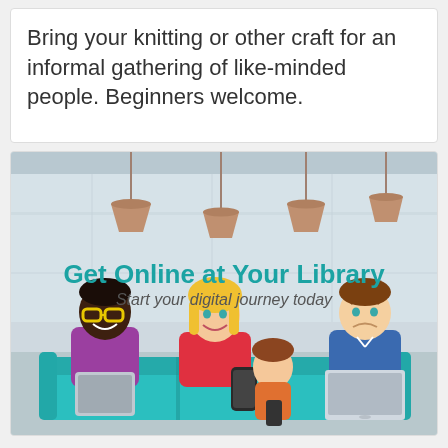Bring your knitting or other craft for an informal gathering of like-minded people. Beginners welcome.
[Figure (illustration): Promotional illustration for 'Get Online at Your Library' featuring cartoon characters — a man with glasses holding a tablet, a woman holding a smartphone with a child, and a man with a laptop — seated on a teal sofa in a library-like room with pendant lights. Text overlay: 'Get Online at Your Library / Start your digital journey today']